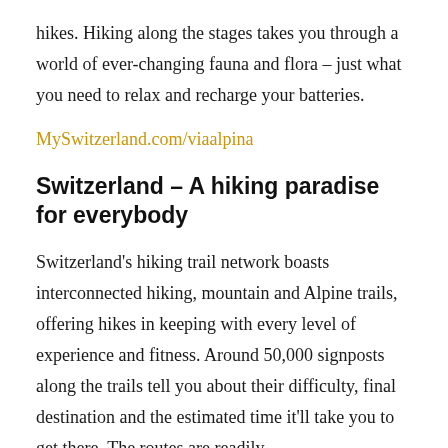hikes. Hiking along the stages takes you through a world of ever-changing fauna and flora – just what you need to relax and recharge your batteries.
MySwitzerland.com/viaalpina
Switzerland – A hiking paradise for everybody
Switzerland's hiking trail network boasts interconnected hiking, mountain and Alpine trails, offering hikes in keeping with every level of experience and fitness. Around 50,000 signposts along the trails tell you about their difficulty, final destination and the estimated time it'll take you to get there. The routes are readily